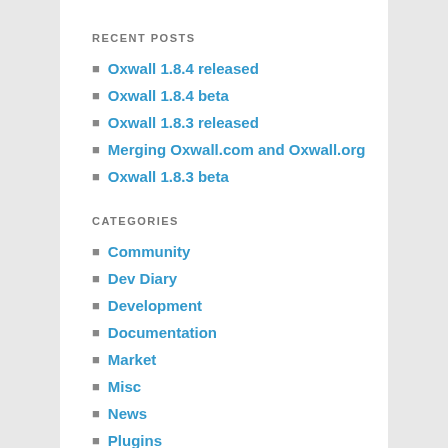RECENT POSTS
Oxwall 1.8.4 released
Oxwall 1.8.4 beta
Oxwall 1.8.3 released
Merging Oxwall.com and Oxwall.org
Oxwall 1.8.3 beta
CATEGORIES
Community
Dev Diary
Development
Documentation
Market
Misc
News
Plugins
Release
Sites in Focus
Store
Themes